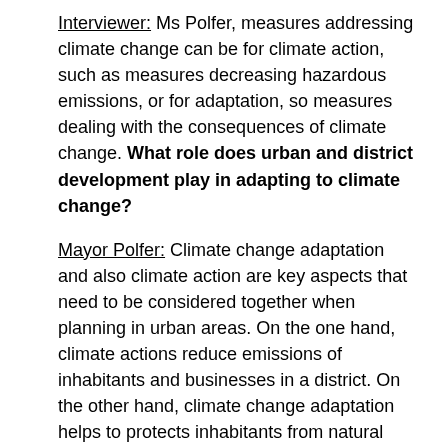Interviewer: Ms Polfer, measures addressing climate change can be for climate action, such as measures decreasing hazardous emissions, or for adaptation, so measures dealing with the consequences of climate change. What role does urban and district development play in adapting to climate change?
Mayor Polfer: Climate change adaptation and also climate action are key aspects that need to be considered together when planning in urban areas. On the one hand, climate actions reduce emissions of inhabitants and businesses in a district. On the other hand, climate change adaptation helps to protects inhabitants from natural hazards resulting from climate change.
There is a wide range of possible measures for climate action in the urban environment. For example, in Luxembourg City, we focus on reducing the need for